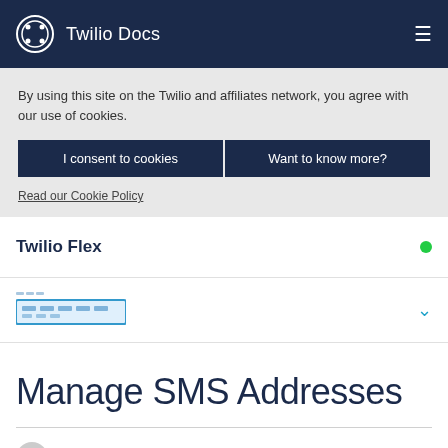Twilio Docs
By using this site on the Twilio and affiliates network, you agree with our use of cookies.
I consent to cookies
Want to know more?
Read our Cookie Policy
Twilio Flex
[Figure (other): Redacted/blurred breadcrumb or search bar text with blue highlighted region and chevron down arrow]
Manage SMS Addresses